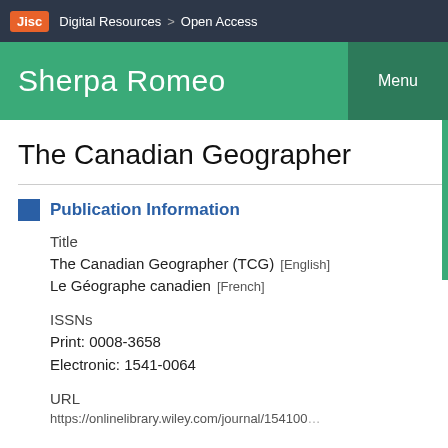Jisc | Digital Resources > Open Access
Sherpa Romeo
The Canadian Geographer
Publication Information
Title
The Canadian Geographer (TCG) [English]
Le Géographe canadien [French]
ISSNs
Print: 0008-3658
Electronic: 1541-0064
URL
https://onlinelibrary.wiley.com/journal/15410064